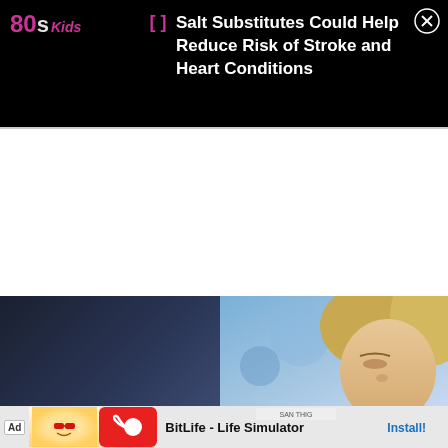80s Kids
Salt Substitutes Could Help Reduce Risk of Stroke and Heart Conditions
[Figure (photo): Dark screenshot of a website page with a white blank content area below the notification banner]
[Figure (photo): Video thumbnail showing a person with blonde hair against a blue background]
[Figure (screenshot): Advertisement banner for BitLife - Life Simulator app with Install button]